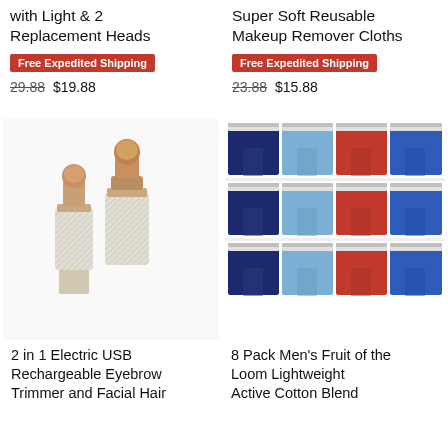with Light & 2 Replacement Heads
Free Expedited Shipping
29.88 $19.88
Super Soft Reusable Makeup Remover Cloths
Free Expedited Shipping
23.88 $15.88
[Figure (photo): Two electric facial hair trimmer devices with rose gold metallic tops and silver diamond-pattern bodies, plus a small cap]
2 in 1 Electric USB Rechargeable Eyebrow Trimmer and Facial Hair
[Figure (photo): 8 Pack Men's boxer briefs in navy, light blue, red, and royal blue colors arranged in two rows of four]
8 Pack Men's Fruit of the Loom Lightweight Active Cotton Blend